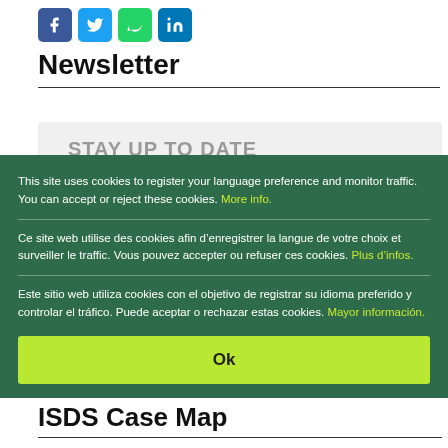[Figure (other): Row of social media share buttons: Facebook (blue), Twitter (light blue), WhatsApp (green), LinkedIn (blue)]
Newsletter
[Figure (screenshot): Gray newsletter signup box with heading STAY UP TO DATE]
This site uses cookies to register your language preference and monitor traffic. You can accept or reject these cookies. More info.
Ce site web utilise des cookies afin d’enregistrer la langue de votre choix et surveiller le traffic. Vous pouvez accepter ou refuser ces cookies. Plus d’infos.
Este sitio web utiliza cookies con el objetivo de registrar su idioma preferido y controlar el tráfico. Puede aceptar o rechazar estas cookies. Mayor información.
Ok
ISDS Case Map